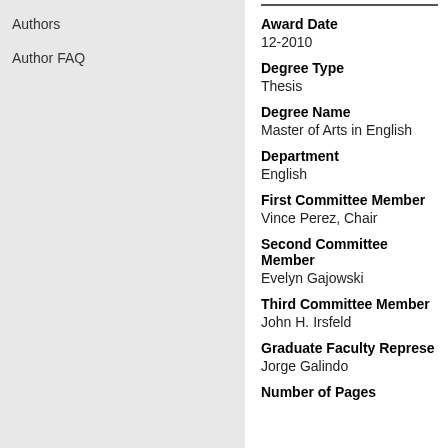Authors
Author FAQ
Award Date
12-2010
Degree Type
Thesis
Degree Name
Master of Arts in English
Department
English
First Committee Member
Vince Perez, Chair
Second Committee Member
Evelyn Gajowski
Third Committee Member
John H. Irsfeld
Graduate Faculty Representative
Jorge Galindo
Number of Pages